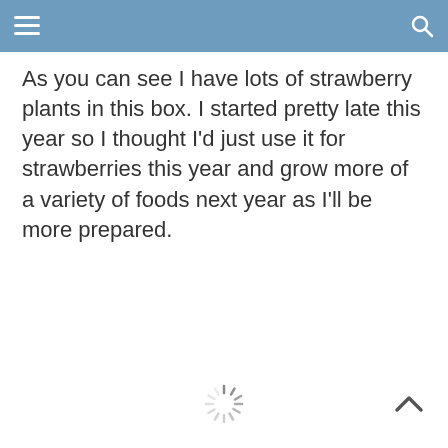As you can see I have lots of strawberry plants in this box. I started pretty late this year so I thought I’d just use it for strawberries this year and grow more of a variety of foods next year as I’ll be more prepared.
[Figure (other): Loading spinner icon at bottom center of page]
[Figure (other): Back to top chevron arrow icon at bottom right]